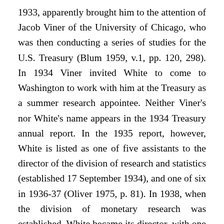1933, apparently brought him to the attention of Jacob Viner of the University of Chicago, who was then conducting a series of studies for the U.S. Treasury (Blum 1959, v.1, pp. 120, 298). In 1934 Viner invited White to come to Washington to work with him at the Treasury as a summer research appointee. Neither Viner's nor White's name appears in the 1934 Treasury annual report. In the 1935 report, however, White is listed as one of five assistants to the director of the division of research and statistics (established 17 September 1934), and one of six in 1936-37 (Oliver 1975, p. 81). In 1938, when the division of monetary research was established, White became its director, with one assistant director, a position he held thereafter, with two or more assistant directors. On 15 December 1941,he was appointed assistant to the Treasury secretary to act as liaison between the Treasury and the State Department on all matters having a bearing on foreign relations and